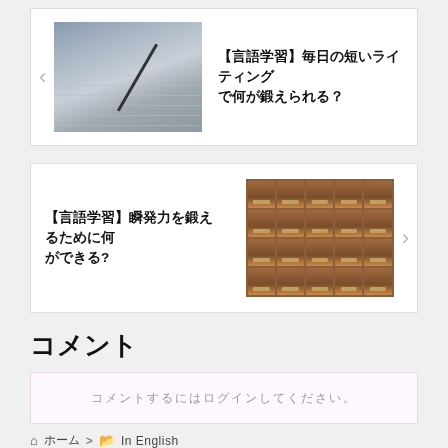[Figure (photo): Notebook with pen, language learning article thumbnail]
【言語学習】毎日の短いライティングで何が鍛えられる？
[Figure (photo): Wooden card catalog drawers, language learning article thumbnail]
【言語学習】瞬発力を鍛えるために何ができる?
コメント
コメントするにはログインしてください。
ホーム > In English